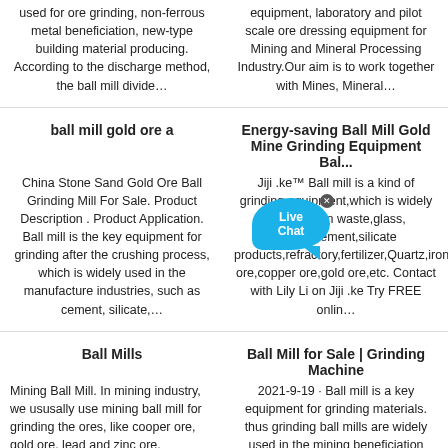used for ore grinding, non-ferrous metal beneficiation, new-type building material producing. According to the discharge method, the ball mill divide…
equipment, laboratory and pilot scale ore dressing equipment for Mining and Mineral Processing Industry.Our aim is to work together with Mines, Mineral…
ball mill gold ore a
Energy-saving Ball Mill Gold Mine Grinding Equipment Bal...
China Stone Sand Gold Ore Ball Grinding Mill For Sale. Product Description . Product Application. Ball mill is the key equipment for grinding after the crushing process, which is widely used in the manufacture industries, such as cement, silicate,…
Jiji .ke™ Ball mill is a kind of grinding equipment,which is widely construction waste,glass, clinker,cement,silicate products,refractory,fertilizer,Quartz,iron ore,copper ore,gold ore,etc. Contact with Lily Li on Jiji .ke Try FREE onlin…
[Figure (other): Live Chat button overlay - blue speech bubble with 'Live Chat' text and close button]
Ball Mills
Ball Mill for Sale | Grinding Machine
Mining Ball Mill. In mining industry, we ususally use mining ball mill for grinding the ores, like cooper ore, gold ore, lead and zinc ore, antimony ore, silver ore, iron ore, bauxite, Lithium ore, graphite, flourite ore, etc. Go ball…
2021-9-19 · Ball mill is a key equipment for grinding materials. thus grinding ball mills are widely used in the mining beneficiation process, and it has a wide range of suitable grinding mineral and can works on wet and dry…